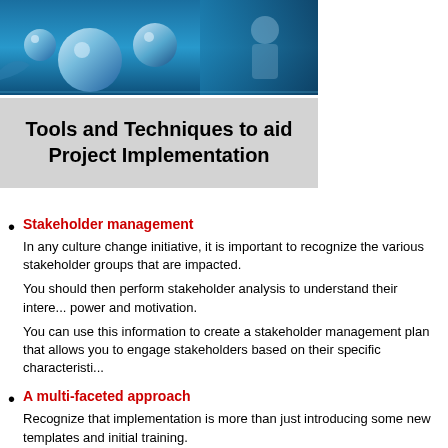[Figure (photo): Blue-toned header image with reflective metallic spheres and a person in the background]
Tools and Techniques to aid Project Implementation
Stakeholder management
In any culture change initiative, it is important to recognize the various stakeholder groups that are impacted.
You should then perform stakeholder analysis to understand their interest, power and motivation.
You can use this information to create a stakeholder management plan that allows you to engage stakeholders based on their specific characteristics
A multi-faceted approach
Recognize that implementation is more than just introducing some new templates and initial training.
It requires a multi-faceted approach that includes long-term communication, common methodology, training for all stakeholders (project managers, t...